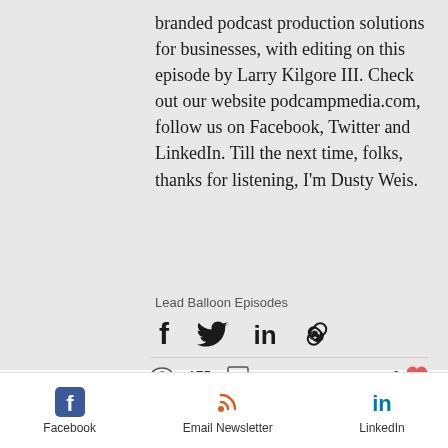branded podcast production solutions for businesses, with editing on this episode by Larry Kilgore III. Check out our website podcampmedia.com, follow us on Facebook, Twitter and LinkedIn. Till the next time, folks, thanks for listening, I'm Dusty Weis.
Lead Balloon Episodes
[Figure (infographic): Social share buttons: Facebook, Twitter, LinkedIn, and link/copy icons]
[Figure (infographic): Stats row: 175 views, comment icon, 2 likes (heart icon)]
[Figure (infographic): Footer with Facebook (blue icon), Email Newsletter (orange RSS icon), LinkedIn (blue icon) links]